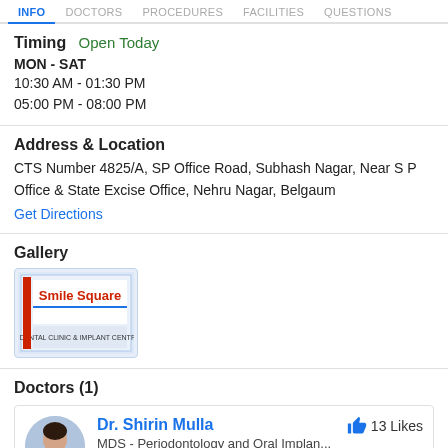Info | Doctors | Procedures | Facilities | Questions
Timing  Open Today
MON - SAT
10:30 AM - 01:30 PM
05:00 PM - 08:00 PM
Address & Location
CTS Number 4825/A, SP Office Road, Subhash Nagar, Near S P Office & State Excise Office, Nehru Nagar, Belgaum
Get Directions
Gallery
[Figure (photo): Smile Square Dental Clinic & Implant Centre sign/logo]
Doctors (1)
Dr. Shirin Mulla  13 Likes
MDS - Periodontology and Oral Implan...